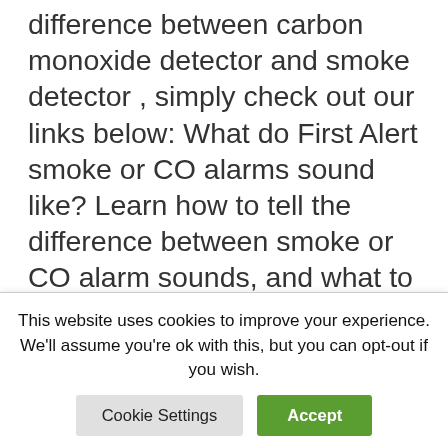if you are looking for how to tell difference between carbon monoxide detector and smoke detector , simply check out our links below: What do First Alert smoke or CO alarms sound like? Learn how to tell the difference between smoke or CO alarm sounds, and what to do if you hear these important alerts. … Read more
what are photoelectronic smoke detectors
(partially visible/cut off at bottom)
This website uses cookies to improve your experience. We'll assume you're ok with this, but you can opt-out if you wish.